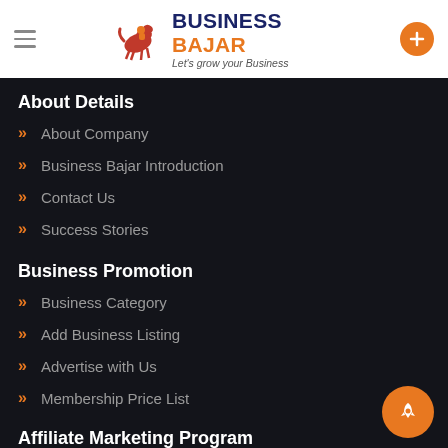Business Bajar — Let's grow your Business
About Details
About Company
Business Bajar Introduction
Contact Us
Success Stories
Business Promotion
Business Category
Add Business Listing
Advertise with Us
Membership Price List
Affiliate Marketing Program